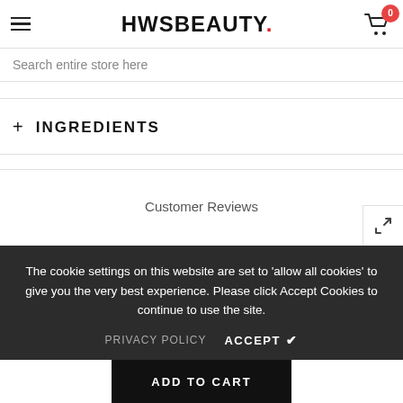HWSBEAUTY.
Search entire store here
+ INGREDIENTS
Customer Reviews
The cookie settings on this website are set to 'allow all cookies' to give you the very best experience. Please click Accept Cookies to continue to use the site.
PRIVACY POLICY   ACCEPT ✓
ADD TO CART